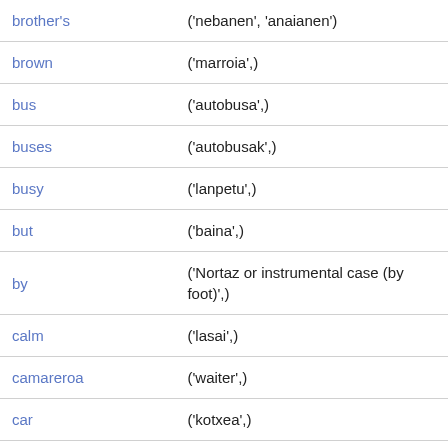| brother's | ('nebanen', 'anaianen') |
| brown | ('marroia',) |
| bus | ('autobusa',) |
| buses | ('autobusak',) |
| busy | ('lanpetu',) |
| but | ('baina',) |
| by | ('Nortaz or instrumental case (by foot)',) |
| calm | ('lasai',) |
| camareroa | ('waiter',) |
| car | ('kotxea',) |
| cars | ('kotxoak',) |